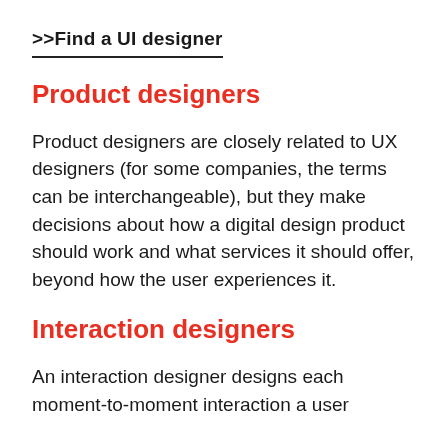>>Find a UI designer
Product designers
Product designers are closely related to UX designers (for some companies, the terms can be interchangeable), but they make decisions about how a digital design product should work and what services it should offer, beyond how the user experiences it.
Interaction designers
An interaction designer designs each moment-to-moment interaction a user